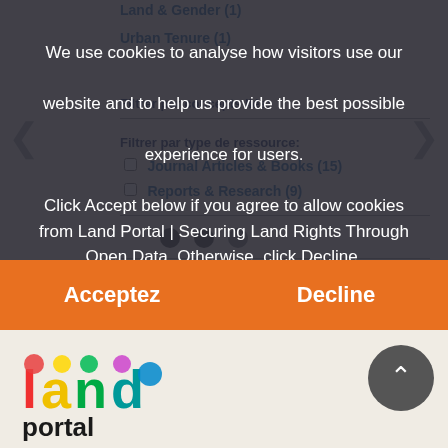Land & Gender (1)
Urban Tenure (1)
Filtrer par concepts liés:
Filtrer par type de ressource:
Journal Articles & Books (15)
Reports & Research (9)
Filtrer par fournisseur de données:
We use cookies to analyse how visitors use our website and to help us provide the best possible experience for users.

Click Accept below if you agree to allow cookies from Land Portal | Securing Land Rights Through Open Data. Otherwise, click Decline.
[Figure (other): Acceptez and Decline buttons (orange) for cookie consent dialog]
[Figure (logo): Land Portal logo — colorful 'land portal' wordmark with multicolor 'l', 'a', 'n', 'd' letters]
[Figure (other): Scroll-to-top circular button with upward chevron arrow]